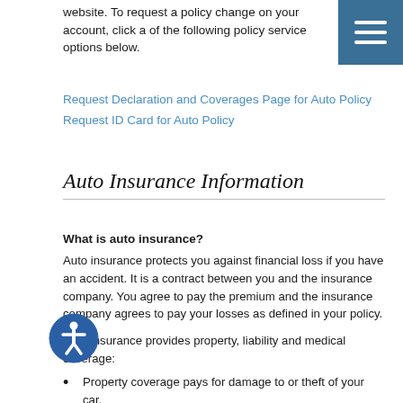website. To request a policy change on your account, click a of the following policy service options below.
[Figure (illustration): Blue square menu/hamburger button icon with three horizontal white lines]
Request Declaration and Coverages Page for Auto Policy
Request ID Card for Auto Policy
Auto Insurance Information
What is auto insurance?
Auto insurance protects you against financial loss if you have an accident. It is a contract between you and the insurance company. You agree to pay the premium and the insurance company agrees to pay your losses as defined in your policy.
Auto insurance provides property, liability and medical coverage:
Property coverage pays for damage to or theft of your car.
[Figure (illustration): Blue circular accessibility icon with white human figure silhouette]
Liability coverage pays for your legal responsibility to others for bodily injury or property damage.
Medical coverage pays for the cost of treating injuries, rehabilitation and sometimes lost wages and funeral